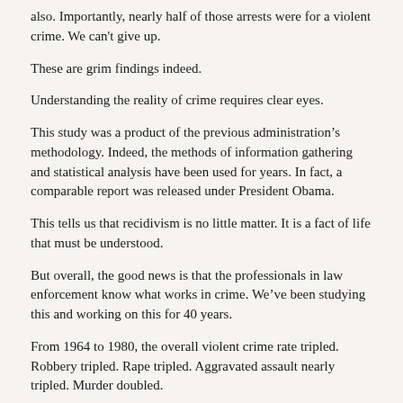also. Importantly, nearly half of those arrests were for a violent crime. We can't give up.
These are grim findings indeed.
Understanding the reality of crime requires clear eyes.
This study was a product of the previous administration's methodology. Indeed, the methods of information gathering and statistical analysis have been used for years. In fact, a comparable report was released under President Obama.
This tells us that recidivism is no little matter. It is a fact of life that must be understood.
But overall, the good news is that the professionals in law enforcement know what works in crime. We've been studying this and working on this for 40 years.
From 1964 to 1980, the overall violent crime rate tripled. Robbery tripled. Rape tripled. Aggravated assault nearly tripled. Murder doubled.
And then, from 1991 to 2014, violent crime dropped by half. Murder dropped by half. So did aggravated assault. Rape decreased by more than a third, and robbery plummeted by nearly two-thirds.
That wasn't a coincidence. Between that big rise in crime and that big decline in